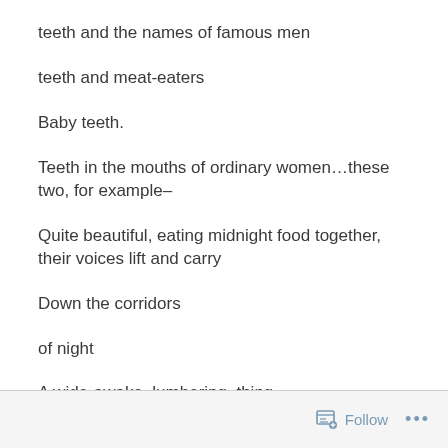teeth and the names of famous men
teeth and meat-eaters
Baby teeth.
Teeth in the mouths of ordinary women…these two, for example–
Quite beautiful, eating midnight food together, their voices lift and carry
Down the corridors
of night
A wide-awake, lumbering  thing
Follow ...